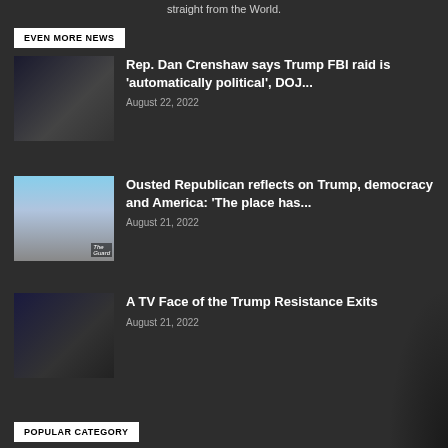straight from the World.
EVEN MORE NEWS
Rep. Dan Crenshaw says Trump FBI raid is 'automatically political', DOJ... August 22, 2022
Ousted Republican reflects on Trump, democracy and America: 'The place has... August 21, 2022
A TV Face of the Trump Resistance Exits August 21, 2022
POPULAR CATEGORY